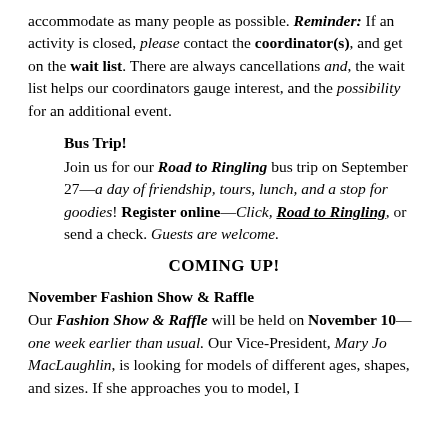accommodate as many people as possible. Reminder: If an activity is closed, please contact the coordinator(s), and get on the wait list. There are always cancellations and, the wait list helps our coordinators gauge interest, and the possibility for an additional event.
Bus Trip! Join us for our Road to Ringling bus trip on September 27—a day of friendship, tours, lunch, and a stop for goodies! Register online—Click, Road to Ringling, or send a check. Guests are welcome.
COMING UP!
November Fashion Show & Raffle Our Fashion Show & Raffle will be held on November 10—one week earlier than usual. Our Vice-President, Mary Jo MacLaughlin, is looking for models of different ages, shapes, and sizes. If she approaches you to model, I